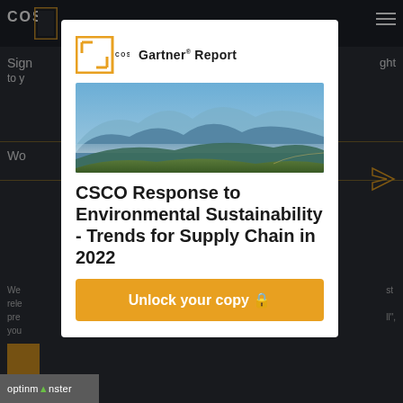[Figure (screenshot): Dark background of the Cosmotech website with navigation bar, partial logo, hamburger menu, and background text visible behind the modal popup.]
[Figure (photo): Aerial landscape photograph of blue layered mountain ridges with mist/haze between them under a blue sky.]
CSCO Response to Environmental Sustainability - Trends for Supply Chain in 2022
Unlock your copy 🔒